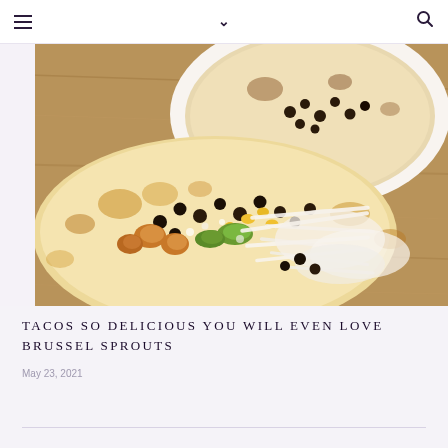☰  ∨  🔍
[Figure (photo): Overhead view of tacos on a wooden cutting board. A flour tortilla in the foreground is filled with roasted brussels sprouts, black beans, corn, avocado, and shredded white cheese. A second taco is partially visible in the upper portion on a white plate.]
TACOS SO DELICIOUS YOU WILL EVEN LOVE BRUSSEL SPROUTS
May 23, 2021